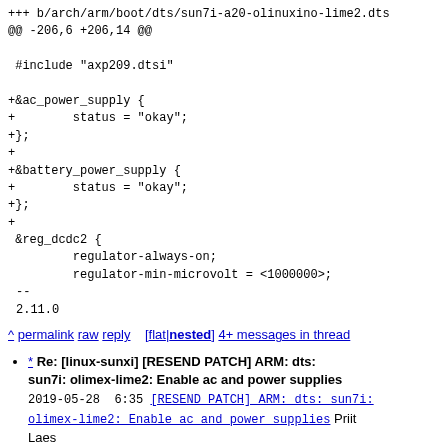+++ b/arch/arm/boot/dts/sun7i-a20-olinuxino-lime2.dts
@@ -206,6 +206,14 @@

 #include "axp209.dtsi"

+&ac_power_supply {
+        status = "okay";
+};
+
+&battery_power_supply {
+        status = "okay";
+};
+
 &reg_dcdc2 {
         regulator-always-on;
         regulator-min-microvolt = <1000000>;
--
2.11.0
^ permalink raw reply   [flat|nested] 4+ messages in thread
* Re: [linux-sunxi] [RESEND PATCH] ARM: dts: sun7i: olimex-lime2: Enable ac and power supplies 2019-05-28  6:35 [RESEND PATCH] ARM: dts: sun7i: olimex-lime2: Enable ac and power supplies Priit Laes
@ 2019-05-28 12:58  ` Paul Kocialkowski
  2019-05-28 13:43    ` Priit Laes
  2019-05-29  7:24  ` Maximo Rinard